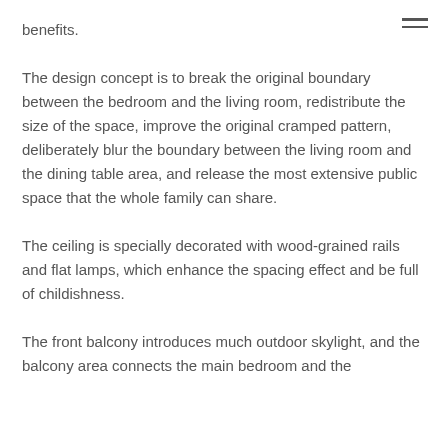benefits.
The design concept is to break the original boundary between the bedroom and the living room, redistribute the size of the space, improve the original cramped pattern, deliberately blur the boundary between the living room and the dining table area, and release the most extensive public space that the whole family can share.
The ceiling is specially decorated with wood-grained rails and flat lamps, which enhance the spacing effect and be full of childishness.
The front balcony introduces much outdoor skylight, and the balcony area connects the main bedroom and the